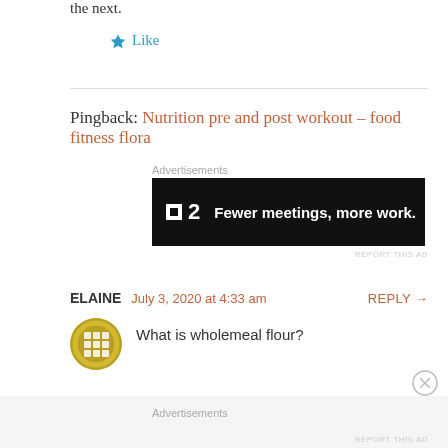the next.
★ Like
Pingback: Nutrition pre and post workout – food fitness flora
[Figure (screenshot): Advertisement banner: dark background with logo '■2' and text 'Fewer meetings, more work.']
REPORT THIS AD
ELAINE   July 3, 2020 at 4:33 am   REPLY →
[Figure (illustration): Gold/yellow circular avatar icon with grid pattern]
What is wholemeal flour?
Advertisements
REPORT THIS AD